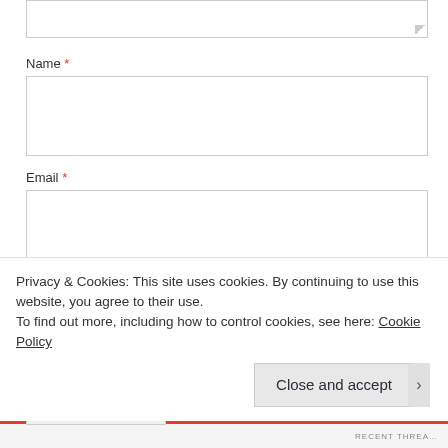[textarea stub at top]
Name *
[Figure (screenshot): Name input field (empty text box)]
Email *
[Figure (screenshot): Email input field (empty text box)]
Website
[Figure (screenshot): Website input field (empty text box)]
Post Comment
Privacy & Cookies: This site uses cookies. By continuing to use this website, you agree to their use.
To find out more, including how to control cookies, see here: Cookie Policy
Close and accept